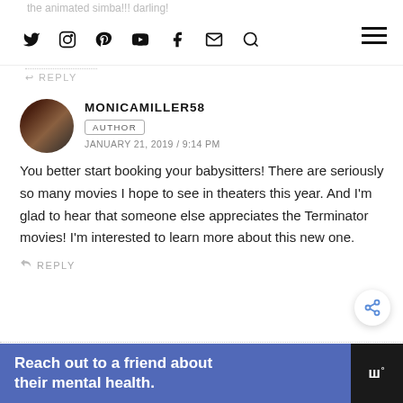the animated simba!!! darling!
↩ REPLY
MONICAMILLER58
AUTHOR
JANUARY 21, 2019 / 9:14 PM
You better start booking your babysitters! There are seriously so many movies I hope to see in theaters this year. And I'm glad to hear that someone else appreciates the Terminator movies! I'm interested to learn more about this new one.
↩ REPLY
WHAT'S NEXT → Hocus Pocus Cupcakes wi...
THESMALLADVENTURER
JANUARY 21, 2019 / 7:45 PM
Reach out to a friend about their mental health.